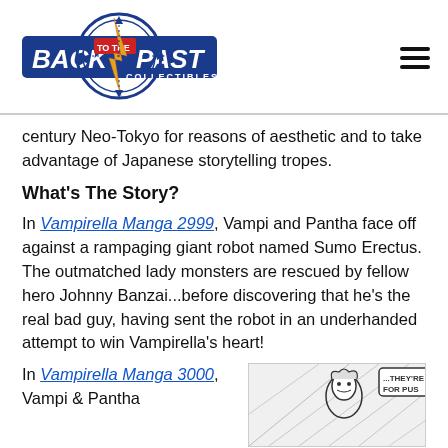Back to the Past Collectibles
century Neo-Tokyo for reasons of aesthetic and to take advantage of Japanese storytelling tropes.
What's The Story?
In Vampirella Manga 2999, Vampi and Pantha face off against a rampaging giant robot named Sumo Erectus. The outmatched lady monsters are rescued by fellow hero Johnny Banzai...before discovering that he's the real bad guy, having sent the robot in an underhanded attempt to win Vampirella's heart!
In Vampirella Manga 3000, Vampi & Pantha
[Figure (illustration): Manga-style comic panel showing a female character with motion lines and a speech bubble partially cut off reading '...THEY'RE FOR PUS...']